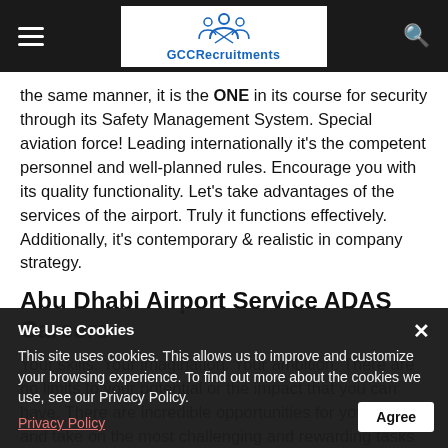GCCRecruitments
the same manner, it is the ONE in its course for security through its Safety Management System. Special aviation force! Leading internationally it's the competent personnel and well-planned rules. Encourage you with its quality functionality. Let's take advantages of the services of the airport. Truly it functions effectively. Additionally, it's contemporary & realistic in company strategy.
Abu Dhabi Airport Service ADAS Careers
Your skills. Your imagination. Your ambition. There are no limits to your potential or the impact that you can have. There are incredible opportunities for you to learn and take on the most challenging and rewarding tasks that will help grow your knowledge and skills. You can be part of the future and help build the life you desire while also being part of an
We Use Cookies
This site uses cookies. This allows us to improve and customize your browsing experience. To find out more about the cookies we use, see our Privacy Policy.
Privacy Policy